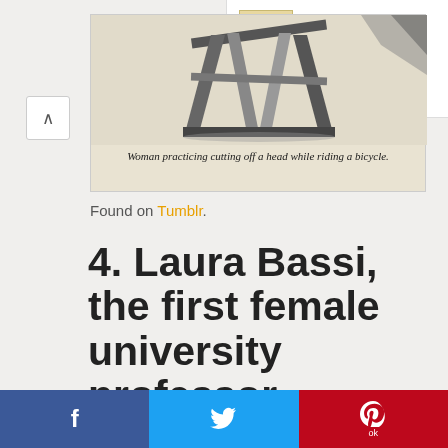[Figure (screenshot): Ad banner showing checkmarks for In-store shopping and In-store pickup]
[Figure (photo): Vintage black and white illustration of a wooden sawhorse or stand, partially visible, with caption below]
Woman practicing cutting off a head while riding a bicycle.
Found on Tumblr.
4. Laura Bassi, the first female university professor
f  [Twitter bird]  ok